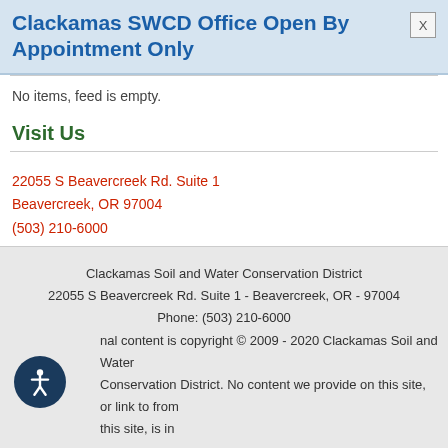Clackamas SWCD Office Open By Appointment Only
No items, feed is empty.
Visit Us
22055 S Beavercreek Rd. Suite 1
Beavercreek, OR 97004
(503) 210-6000
M-F 8:00 am - 4:30 pm
Clackamas Soil and Water Conservation District
22055 S Beavercreek Rd. Suite 1 - Beavercreek, OR - 97004
Phone: (503) 210-6000
Original content is copyright © 2009 - 2020 Clackamas Soil and Water Conservation District. No content we provide on this site, or link to from this site, is intended to be used as a replacement for advice from a W